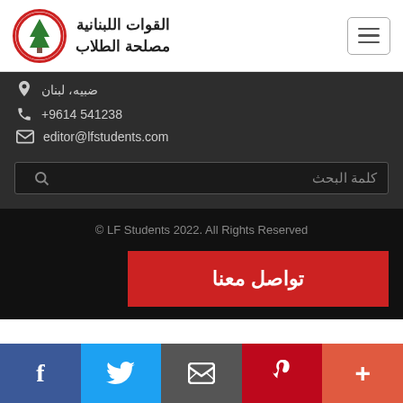القوات اللبنانية مصلحة الطلاب
ضبيه، لبنان
+96614 541238
editor@lfstudents.com
كلمة البحث
© LF Students 2022. All Rights Reserved
تواصل معنا
f  Twitter  Email  Pinterest  +